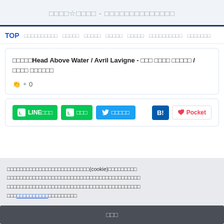□□□□☆□□□□ - □□□□□□□□□□□□□□
TOP □□□□□□□□□□ □□□□□ □□□□□ □□□□□ □□□□□ □□□□□□□□□□ □□□□□□□
□□□□□Head Above Water / Avril Lavigne - □□□ □□□□ □□□□□ / □□□□ □□□□□□
👏 0
LINE□□□ □□□ □□□□□ B! Pocket
□□□□□□□□□□□□□□□□□□□□□□□□□□(cookie)□□□□□□□□□□□□□□□□□□□□□□□□□□□□□□□□□□□□□□□□□□□□□□□□□□□□□□□□□□□□□□□□□□□□□□□□□□□□□□□□□□□□□□□□□□□□□□□□□□□□□□□□□□□□□□□□□□□□□□□□
□□□